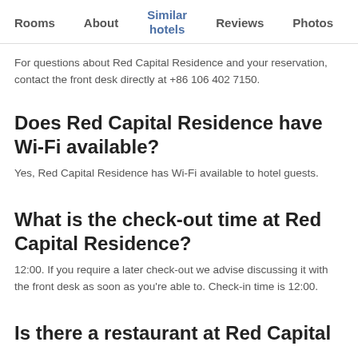Rooms   About   Similar hotels   Reviews   Photos   Loca…
For questions about Red Capital Residence and your reservation, contact the front desk directly at +86 106 402 7150.
Does Red Capital Residence have Wi-Fi available?
Yes, Red Capital Residence has Wi-Fi available to hotel guests.
What is the check-out time at Red Capital Residence?
12:00. If you require a later check-out we advise discussing it with the front desk as soon as you're able to. Check-in time is 12:00.
Is there a restaurant at Red Capital